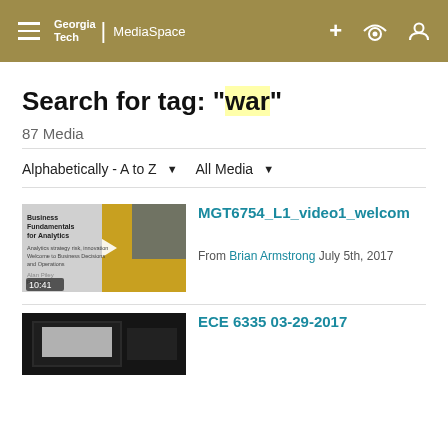Georgia Tech MediaSpace – navigation header
Search for tag: "war"
87 Media
Alphabetically - A to Z   All Media
[Figure (screenshot): Thumbnail of Business Fundamentals for Analytics video with duration 10:41]
MGT6754_L1_video1_welcom
From Brian Armstrong July 5th, 2017
[Figure (screenshot): Dark thumbnail for ECE 6335 03-29-2017 video]
ECE 6335 03-29-2017